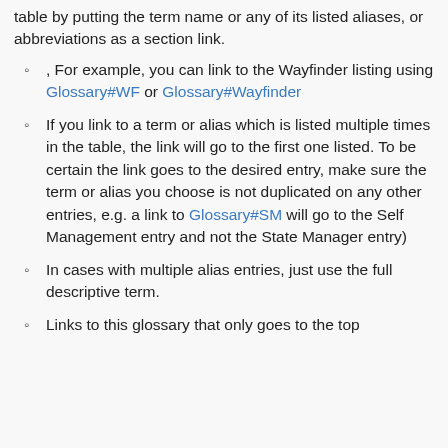table by putting the term name or any of its listed aliases, or abbreviations as a section link.
, For example, you can link to the Wayfinder listing using Glossary#WF or Glossary#Wayfinder
If you link to a term or alias which is listed multiple times in the table, the link will go to the first one listed. To be certain the link goes to the desired entry, make sure the term or alias you choose is not duplicated on any other entries, e.g. a link to Glossary#SM will go to the Self Management entry and not the State Manager entry)
In cases with multiple alias entries, just use the full descriptive term.
Links to this glossary that only goes to the top